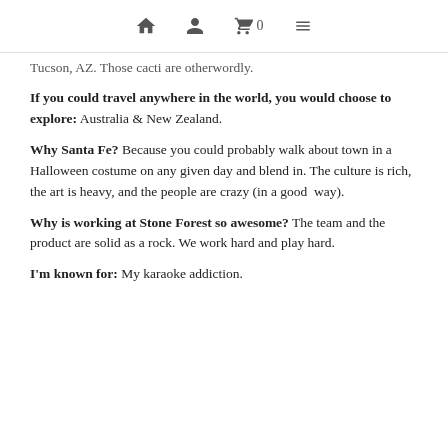🏠 👤 🛒 0 ☰
Tucson, AZ. Those cacti are otherwordly.
If you could travel anywhere in the world, you would choose to explore: Australia & New Zealand.
Why Santa Fe? Because you could probably walk about town in a Halloween costume on any given day and blend in. The culture is rich, the art is heavy, and the people are crazy (in a good way).
Why is working at Stone Forest so awesome? The team and the product are solid as a rock. We work hard and play hard.
I'm known for: My karaoke addiction.